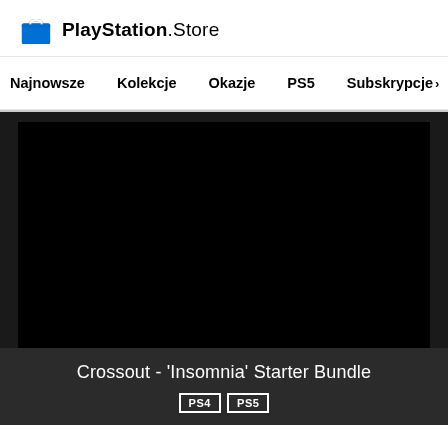[Figure (logo): PlayStation Store logo with shopping bag icon]
Najnowsze   Kolekcje   Okazje   PS5   Subskrypcje >
[Figure (screenshot): Black video/image area for Crossout Insomnia Starter Bundle]
Crossout - 'Insomnia' Starter Bundle
PS4  PS5